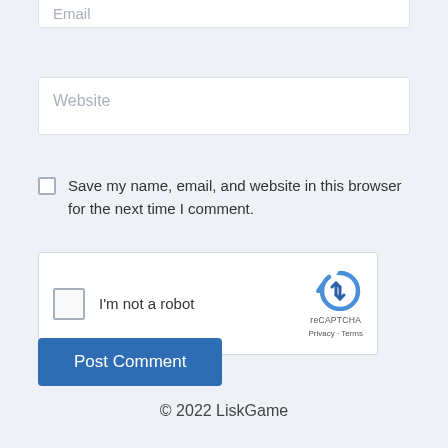[Figure (screenshot): Partially visible Email input field at the top of the page]
[Figure (screenshot): Website input field with placeholder text 'Website']
Save my name, email, and website in this browser for the next time I comment.
[Figure (screenshot): reCAPTCHA widget with checkbox and 'I'm not a robot' label, reCAPTCHA logo, Privacy and Terms links]
[Figure (screenshot): Post Comment button in blue]
© 2022 LiskGame